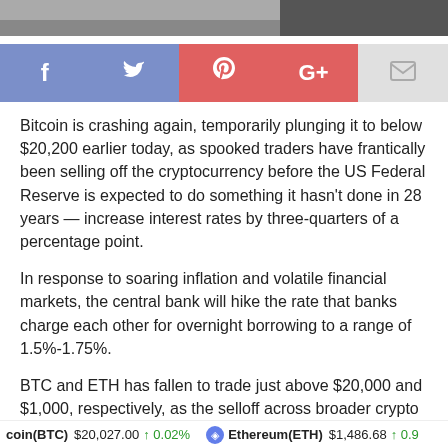[Figure (photo): Top portion of an image, partially cropped, showing a dark background with light-colored elements, partially visible at the top of the page.]
[Figure (infographic): Social media sharing bar with Facebook (blue), Twitter (blue), Pinterest (red), Google+ (red), and Email (grey) buttons with respective icons.]
Bitcoin is crashing again, temporarily plunging it to below $20,200 earlier today, as spooked traders have frantically been selling off the cryptocurrency before the US Federal Reserve is expected to do something it hasn't done in 28 years — increase interest rates by three-quarters of a percentage point.
In response to soaring inflation and volatile financial markets, the central bank will hike the rate that banks charge each other for overnight borrowing to a range of 1.5%-1.75%.
BTC and ETH has fallen to trade just above $20,000 and $1,000, respectively, as the selloff across broader crypto markets continued. This means the total value locked (TVL) of tokens across all blockchains declined by over 8% in the past
coin(BTC) $20,027.00 ↑ 0.02% Ethereum(ETH) $1,486.68 ↑ 0.9